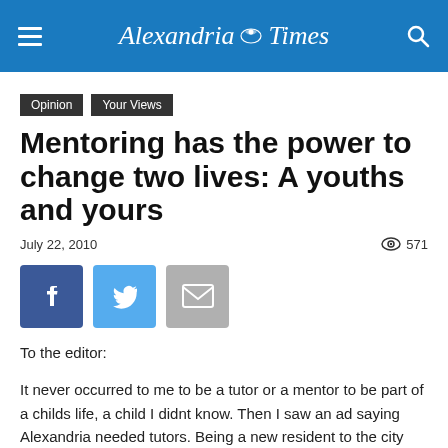Alexandria Times
Opinion  Your Views
Mentoring has the power to change two lives: A youths and yours
July 22, 2010   571
[Figure (other): Social sharing buttons: Facebook, Twitter, Email]
To the editor:
It never occurred to me to be a tutor or a mentor to be part of a childs life, a child I didnt know. Then I saw an ad saying Alexandria needed tutors. Being a new resident to the city